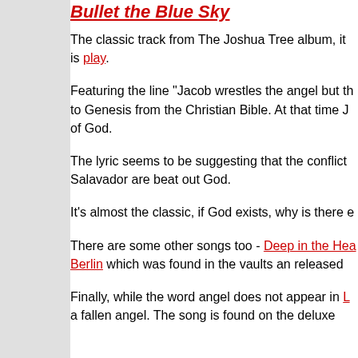Bullet the Blue Sky
The classic track from The Joshua Tree album, it is [link: play].
Featuring the line "Jacob wrestles the angel but th... to Genesis from the Christian Bible. At that time J... of God.
The lyric seems to be suggesting that the conflict... Salavador are beat out God.
It's almost the classic, if God exists, why is there e...
There are some other songs too - [link: Deep in the Hea...] [link: Berlin] which was found in the vaults an released...
Finally, while the word angel does not appear in [link:...] a fallen angel. The song is found on the deluxe...